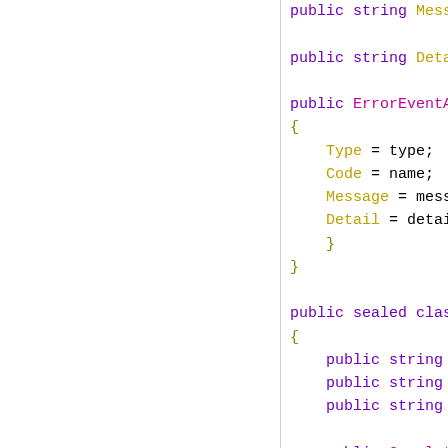[Figure (screenshot): Code screenshot showing C# class definitions with syntax highlighting. Includes ErrorEventArgs constructor body with Type, Code, Message, Detail assignments, and CompleteEventArgs class with Token, TransactionID, PayerID properties and constructor.]